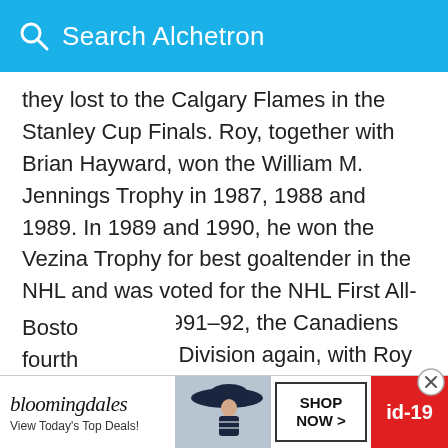Search Alchetron
they lost to the Calgary Flames in the Stanley Cup Finals. Roy, together with Brian Hayward, won the William M. Jennings Trophy in 1987, 1988 and 1989. In 1989 and 1990, he won the Vezina Trophy for best goaltender in the NHL and was voted for the NHL First All-Star Team. In 1991–92, the Canadiens won the Adams Division again, with Roy having a very successful individual year, winning the William M. Jennings Trophy, Vezina Trophy and being selected for the NHL First All-Star Team. Despite the successful regular season, the Canadiens were swept in the second round by the Bosto fourth
[Figure (screenshot): Bloomingdales advertisement banner with logo, model wearing hat, SHOP NOW button, and id-19 badge]